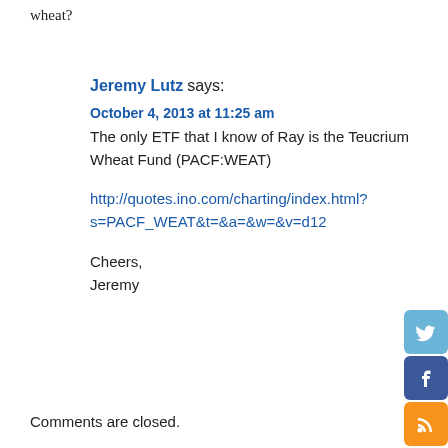wheat?
Jeremy Lutz says:
October 4, 2013 at 11:25 am
The only ETF that I know of Ray is the Teucrium Wheat Fund (PACF:WEAT)
http://quotes.ino.com/charting/index.html?s=PACF_WEAT&t=&a=&w=&v=d12
Cheers,
Jeremy
Comments are closed.